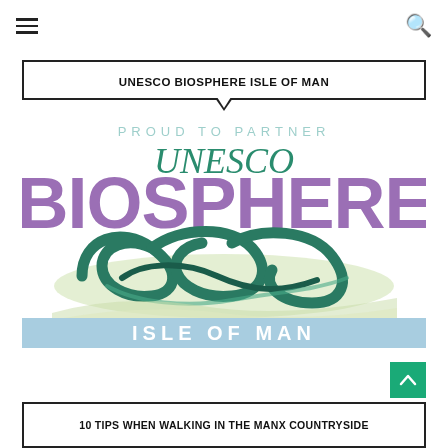UNESCO BIOSPHERE ISLE OF MAN
[Figure (logo): UNESCO Biosphere Isle of Man logo. Text reads 'PROUD TO PARTNER' in light teal at top, then 'UNESCO' in dark teal italic, then 'BIOSPHERE' in large purple text, with a decorative Celtic knot design in teal/green below, a light green/cream wavy landscape, and a light blue banner reading 'ISLE OF MAN' in white letters.]
10 TIPS WHEN WALKING IN THE MANX COUNTRYSIDE